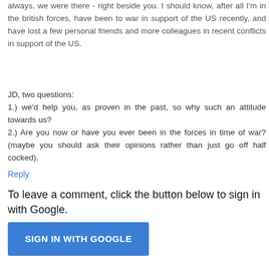always, we were there - right beside you. I should know, after all I'm in the british forces, have been to war in support of the US recently, and have lost a few personal friends and more colleagues in recent conflicts in support of the US.
JD, two questions:
1.) we'd help you, as proven in the past, so why such an attitude towards us?
2.) Are you now or have you ever been in the forces in time of war? (maybe you should ask their opinions rather than just go off half cocked).
Reply
To leave a comment, click the button below to sign in with Google.
SIGN IN WITH GOOGLE